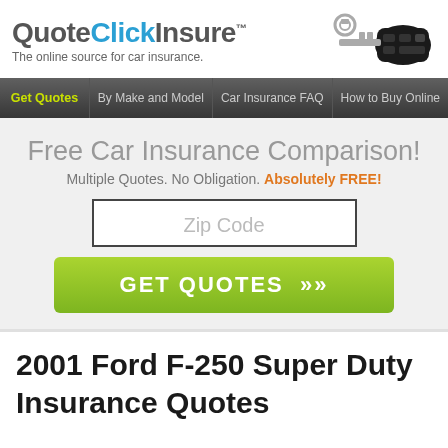[Figure (logo): QuoteClickInsure logo with car keys image and tagline 'The online source for car insurance.']
Get Quotes | By Make and Model | Car Insurance FAQ | How to Buy Online
Free Car Insurance Comparison!
Multiple Quotes. No Obligation. Absolutely FREE!
Zip Code
GET QUOTES >>
2001 Ford F-250 Super Duty Insurance Quotes